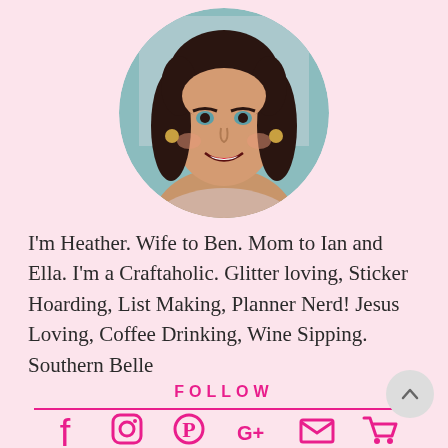[Figure (photo): Circular profile photo of a smiling woman with dark curly hair, blue eyes, and red lipstick, against a light teal background.]
I'm Heather. Wife to Ben. Mom to Ian and Ella. I'm a Craftaholic. Glitter loving, Sticker Hoarding, List Making, Planner Nerd! Jesus Loving, Coffee Drinking, Wine Sipping. Southern Belle
FOLLOW